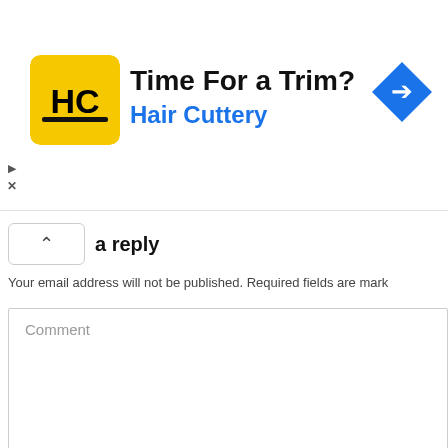[Figure (screenshot): Advertisement banner for Hair Cuttery with logo, title 'Time For a Trim?' and navigation arrow icon]
Leave a reply
Your email address will not be published. Required fields are mark
Comment
Name *
Email *
Save my name, em
[Figure (screenshot): Green WhatsApp chat button with text 'How can we help you?']
SUBMIT